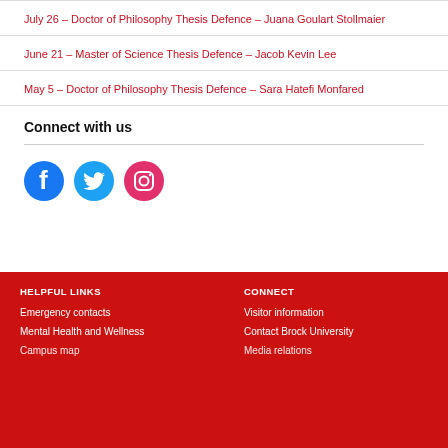July 26 – Doctor of Philosophy Thesis Defence – Juana Goulart Stollmaier
June 21 – Master of Science Thesis Defence – Jacob Kevin Lee
May 5 – Doctor of Philosophy Thesis Defence – Sara Hatefi Monfared
Connect with us
[Figure (logo): Facebook, Twitter, and Instagram social media icons]
HELPFUL LINKS
CONNECT
Emergency contacts
Visitor information
Mental Health and Wellness
Contact Brock University
Campus map
Media relations